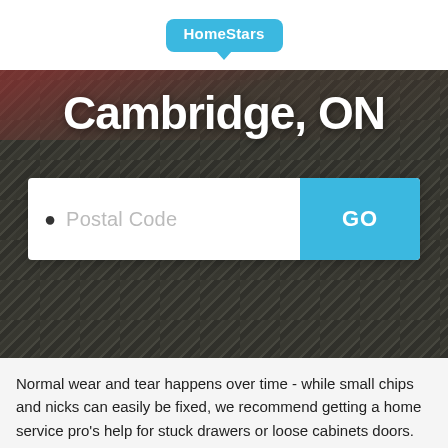[Figure (screenshot): HomeStars logo badge in blue speech-bubble shape on white background]
Cambridge, ON
[Figure (screenshot): Postal Code search input field with location pin icon and a blue GO button, overlaid on a dark wood/roof background photo]
Normal wear and tear happens over time - while small chips and nicks can easily be fixed, we recommend getting a home service pro's help for stuck drawers or loose cabinets doors. Make your